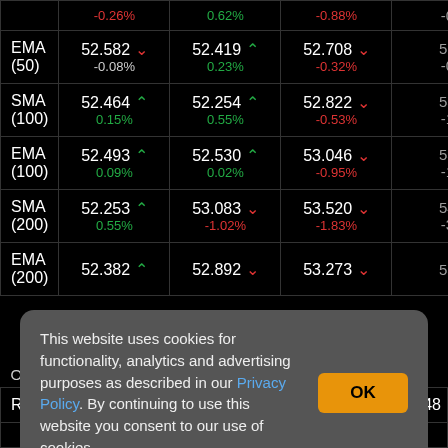|  | 5 minuto | 15 minuto | 1 hora | ... |
| --- | --- | --- | --- | --- |
|  | -0.26% | 0.62% | -0.88% | -0 |
| EMA (50) | 52.582 ▼ -0.08% | 52.419 ▲ 0.23% | 52.708 ▼ -0.32% | 52 -0 |
| SMA (100) | 52.464 ▲ 0.15% | 52.254 ▲ 0.55% | 52.822 ▼ -0.53% | 53 -1 |
| EMA (100) | 52.493 ▲ 0.09% | 52.530 ▲ 0.02% | 53.046 ▼ -0.95% | 53 -1 |
| SMA (200) | 52.253 ▲ 0.55% | 53.083 ▼ -1.02% | 53.520 ▼ -1.83% | 54 -3 |
| EMA (200) | 52.382 ▲ | 52.892 ▼ | 53.273 ▼ | 55 |
This website uses cookies for functionality, analytics and advertising purposes as described in our Privacy Policy. By continuing to use this website you consent to our use of cookies.
| OB / OS | 5 minuto | 15 minuto | 1 hora |  |
| --- | --- | --- | --- | --- |
| RSI (14) | 46.42 NE | 50.69 NE | 50.63 NE | 48 |